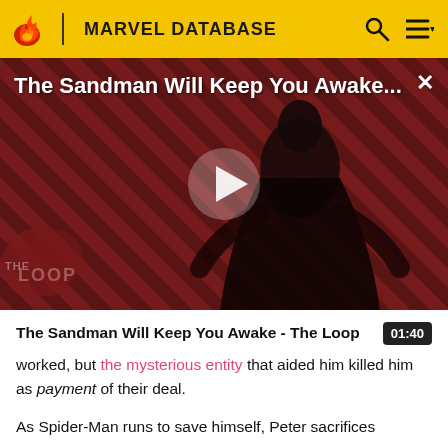MARVEL DATABASE
[Figure (screenshot): Video thumbnail for 'The Sandman Will Keep You Awake - The Loop' showing a figure in a black cape against a diagonal red and black striped background, with a play button overlay. 'THE LOOP' watermark in bottom left. Duration 01:40.]
The Sandman Will Keep You Awake - The Loop   01:40
worked, but the mysterious entity that aided him killed him as payment of their deal.
As Spider-Man runs to save himself, Peter sacrifices